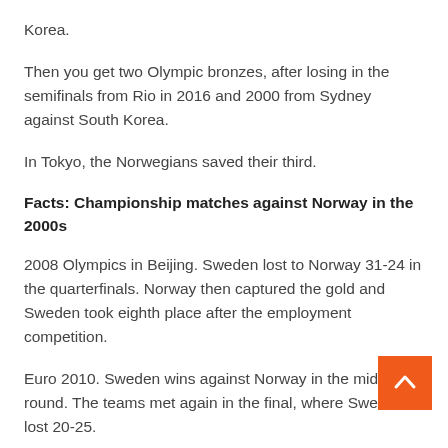Korea.
Then you get two Olympic bronzes, after losing in the semifinals from Rio in 2016 and 2000 from Sydney against South Korea.
In Tokyo, the Norwegians saved their third.
Facts: Championship matches against Norway in the 2000s
2008 Olympics in Beijing. Sweden lost to Norway 31-24 in the quarterfinals. Norway then captured the gold and Sweden took eighth place after the employment competition.
Euro 2010. Sweden wins against Norway in the middle round. The teams met again in the final, where Sweden lost 20-25.